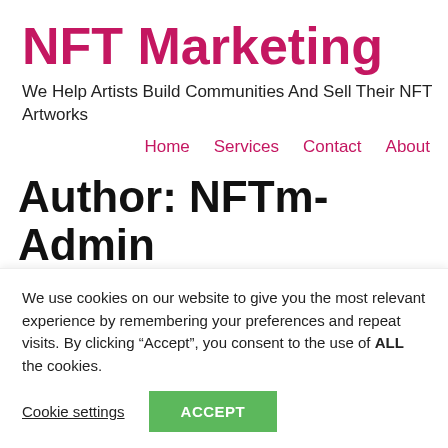NFT Marketing
We Help Artists Build Communities And Sell Their NFT Artworks
Home   Services   Contact   About
Author: NFTm-Admin
test test
We use cookies on our website to give you the most relevant experience by remembering your preferences and repeat visits. By clicking “Accept”, you consent to the use of ALL the cookies.
Cookie settings   ACCEPT